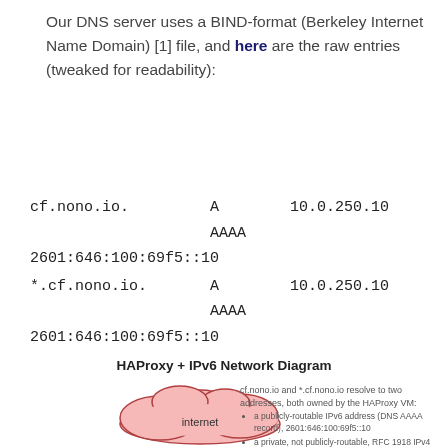Our DNS server uses a BIND-format (Berkeley Internet Name Domain) [1] file, and here are the raw entries (tweaked for readability):
cf.nono.io.    A    10.0.250.10
              AAAA
2601:646:100:69f5::10
*.cf.nono.io.    A    10.0.250.10
              AAAA
2601:646:100:69f5::10
HAProxy + IPv6 Network Diagram
[Figure (network-graph): Network diagram showing the internet cloud (pink) on the left with a label 'internet', and annotation text on the right explaining that cf.nono.io and *.cf.nono.io resolve to two addresses owned by the HAProxy VM: a publicly-routable IPv6 address (DNS AAAA record) 2601:646:100:69f5::10, and a private, not publicly-routable, RFC 1918 IPv4 address (DNS A record).]